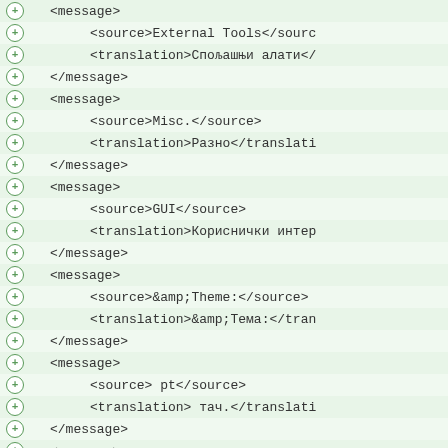<message>
<source>External Tools</source>
<translation>Спољашњи алати</translation>
</message>
<message>
<source>Misc.</source>
<translation>Разно</translation>
</message>
<message>
<source>GUI</source>
<translation>Кориснички интер
</message>
<message>
<source>&amp;Theme:</source>
<translation>&amp;Тема:</translation>
</message>
<message>
<source> pt</source>
<translation> тач.</translation>
</message>
<message>
<source>&amp;Font Size:</source>
<translation>Величина &amp;фо
</message>